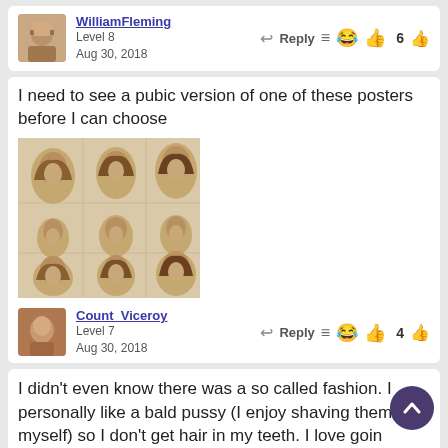WilliamFleming
Level 8
Aug 30, 2018
Reply  😂 6
I need to see a pubic version of one of these posters before I can choose
[Figure (photo): Vintage hairstyle poster showing multiple men with different 1970s hairstyles arranged in a grid]
Count_Viceroy
Level 7
Aug 30, 2018
Reply  😂 4
I didn't even know there was a so called fashion. I personally like a bald pussy (I enjoy shaving them myself) so I don't get hair in my teeth. I love goin down! In a act of fairness I shave myself for her/h